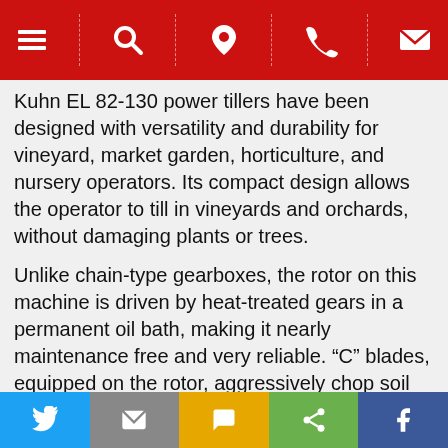Navigation bar with menu, search, location, phone, and email icons
Kuhn EL 82-130 power tillers have been designed with versatility and durability for vineyard, market garden, horticulture, and nursery operators. Its compact design allows the operator to till in vineyards and orchards, without damaging plants or trees.
Unlike chain-type gearboxes, the rotor on this machine is driven by heat-treated gears in a permanent oil bath, making it nearly maintenance free and very reliable. “C” blades, equipped on the rotor, aggressively chop soil and plants with minimum horsepower. The rigid box construction acts as counteraction to shocks and vibrations. Three adaptable yokes allow the tiller to be offset to the right to cover wheel tracks or maneuver around trees and other obstacles. The rear hood
Social share bar: Twitter, Email, SMS, Share, Facebook